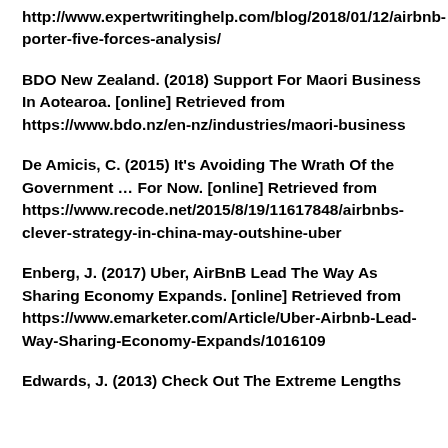http://www.expertwritinghelp.com/blog/2018/01/12/airbnb-porter-five-forces-analysis/
BDO New Zealand. (2018) Support For Maori Business In Aotearoa. [online] Retrieved from https://www.bdo.nz/en-nz/industries/maori-business
De Amicis, C. (2015) It's Avoiding The Wrath Of the Government … For Now. [online] Retrieved from https://www.recode.net/2015/8/19/11617848/airbnbs-clever-strategy-in-china-may-outshine-uber
Enberg, J. (2017) Uber, AirBnB Lead The Way As Sharing Economy Expands. [online] Retrieved from https://www.emarketer.com/Article/Uber-Airbnb-Lead-Way-Sharing-Economy-Expands/1016109
Edwards, J. (2013) Check Out The Extreme Lengths